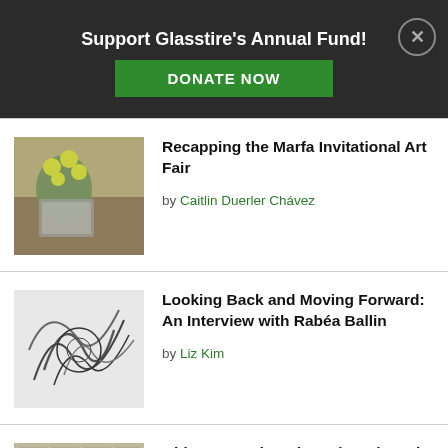Support Glasstire's Annual Fund! DONATE NOW
Recapping the Marfa Invitational Art Fair
by Caitlin Duerler Chávez
Looking Back and Moving Forward: An Interview with Rabéa Ballin
by Liz Kim
Old, New, and Back Again: What's in a Map?
by Allison Marino